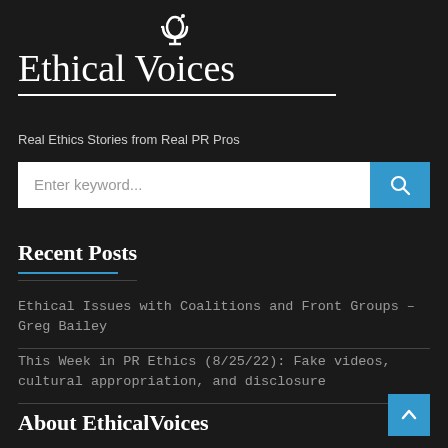Ethical Voices
Real Ethics Stories from Real PR Pros
[Figure (screenshot): Search bar with 'Enter keyword...' placeholder text and a blue search button with magnifying glass icon]
Recent Posts
Ethical Issues with Coalitions and Front Groups – Greg Bailey
This Week in PR Ethics (8/25/22): Fake videos, cultural appropriation, and disclosure
About EthicalVoices